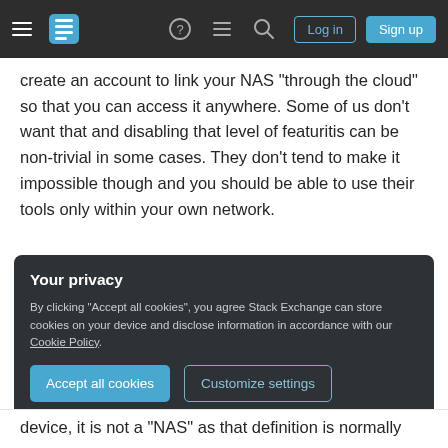Stack Exchange navigation bar with hamburger menu, logo, help, chat, search icons, Log in and Sign up buttons
create an account to link your NAS "through the cloud" so that you can access it anywhere. Some of us don't want that and disabling that level of featuritis can be non-trivial in some cases. They don't tend to make it impossible though and you should be able to use their tools only within your own network.
By no means do you have to use their software to do things, but it may just make things smoother.
Your privacy
By clicking "Accept all cookies", you agree Stack Exchange can store cookies on your device and disclose information in accordance with our Cookie Policy.
Accept all cookies  Customize settings
device, it is not a "NAS" as that definition is normally